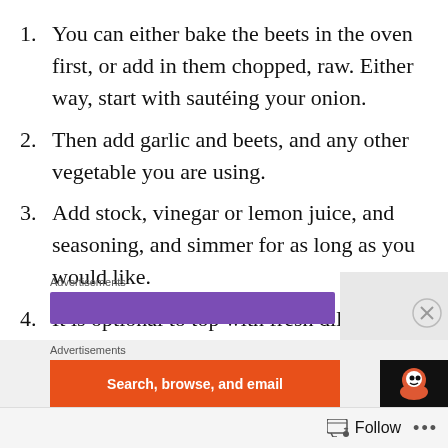1. You can either bake the beets in the oven first, or add in them chopped, raw. Either way, start with sautéing your onion.
2. Then add garlic and beets, and any other vegetable you are using.
3. Add stock, vinegar or lemon juice, and seasoning, and simmer for as long as you would like.
4. It is optional to top with fresh dill and/or sour cream as well.
Advertisements
[Figure (other): Purple advertisement banner]
Advertisements
[Figure (other): Orange advertisement banner with text 'Search, browse, and email' and DuckDuckGo logo]